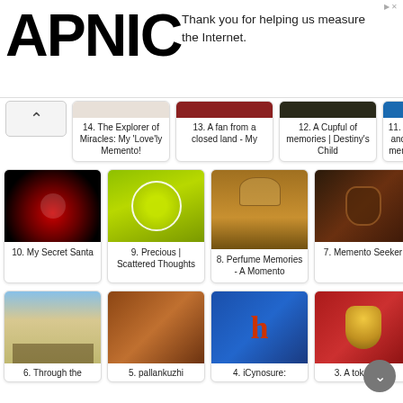[Figure (logo): APNIC logo in large black bold text]
Thank you for helping us measure the Internet.
14. The Explorer of Miracles: My 'Love'ly Memento!
13. A fan from a closed land - My
12. A Cupful of memories | Destiny's Child
11. My World of Food and Travel: My most memorable memento
[Figure (photo): Dark circular/funnel shape with red tones]
[Figure (photo): Tennis ball on gray surface]
[Figure (photo): Perfume bottle with amber liquid]
[Figure (photo): Dark decorative mask artwork]
10. My Secret Santa
9. Precious | Scattered Thoughts
8. Perfume Memories - A Momento
7. Memento Seeker
[Figure (photo): Group of people on steps outdoors]
[Figure (photo): Traditional board game pallankuzhi]
[Figure (photo): Blue background with letter h in red/orange]
[Figure (photo): Golden laughing Buddha statue]
6. Through the
5. pallankuzhi
4. iCynosure:
3. A token that